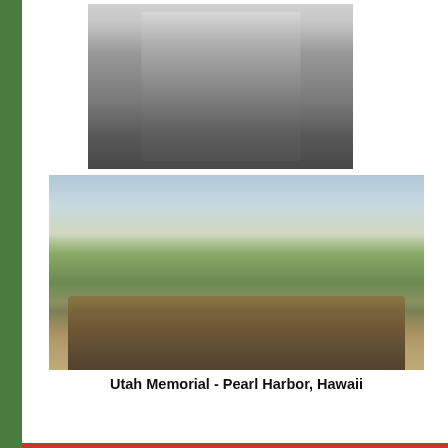[Figure (photo): Black and white photograph of a person standing in a doorway wearing a jacket]
[Figure (photo): Color photograph of the Utah Memorial at Pearl Harbor, Hawaii, showing the sunken battleship wreck in water with an American flag and trees in the background]
Utah Memorial - Pearl Harbor, Hawaii